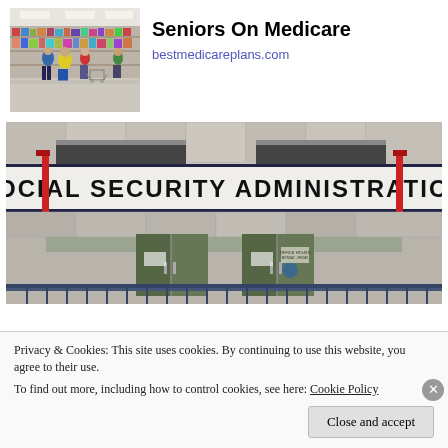[Figure (photo): Shoppers in a grocery store aisle, seen from behind, some with carts]
Seniors On Medicare
bestmedicareplans.com
[Figure (photo): Exterior of a Social Security Administration building with large sign reading SOCIAL SECURITY ADMINISTRATION, glass doors, stone facade, and metal railing]
Privacy & Cookies: This site uses cookies. By continuing to use this website, you agree to their use. To find out more, including how to control cookies, see here: Cookie Policy
Close and accept